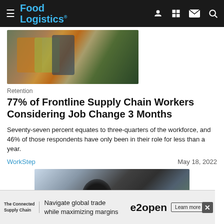Food Logistics
[Figure (photo): Workers in safety vests and hard hats standing together outdoors]
Retention
77% of Frontline Supply Chain Workers Considering Job Change 3 Months
Seventy-seven percent equates to three-quarters of the workforce, and 46% of those respondents have only been in their role for less than a year.
WorkStep    May 18, 2022
[Figure (photo): Close-up of a person's head from behind, blurred background]
[Figure (infographic): Advertisement: The Connected Supply Chain - Navigate global trade while maximizing margins - e2open - Learn more]